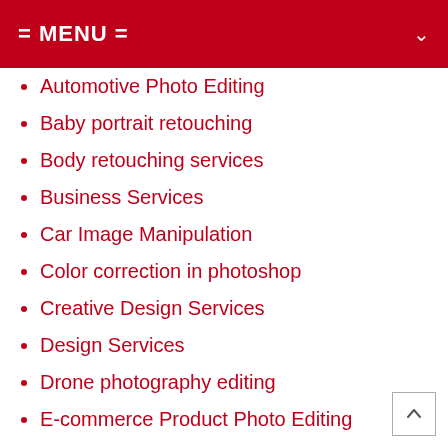= MENU =
Automotive Photo Editing
Baby portrait retouching
Body retouching services
Business Services
Car Image Manipulation
Color correction in photoshop
Creative Design Services
Design Services
Drone photography editing
E-commerce Product Photo Editing
eCommerce Product Photo Editing
Event Photo Editing
Family Photo Editing
Fashion Photo Retouching
Ghost Mannequin Service